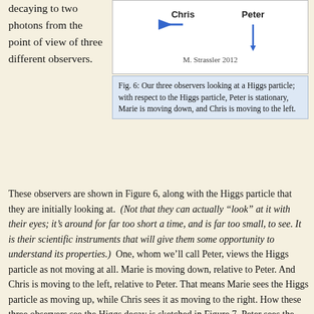decaying to two photons from the point of view of three different observers.
[Figure (illustration): Diagram showing three observers Chris, Marie, and Peter looking at a Higgs particle. Chris has an arrow pointing left, Peter has an arrow pointing down, and M. Strassler 2012 credit line.]
Fig. 6: Our three observers looking at a Higgs particle; with respect to the Higgs particle, Peter is stationary, Marie is moving down, and Chris is moving to the left.
These observers are shown in Figure 6, along with the Higgs particle that they are initially looking at. (Not that they can actually "look" at it with their eyes; it's around for far too short a time, and is far too small, to see. It is their scientific instruments that will give them some opportunity to understand its properties.)  One, whom we'll call Peter, views the Higgs particle as not moving at all. Marie is moving down, relative to Peter. And Chris is moving to the left, relative to Peter. That means Marie sees the Higgs particle as moving up, while Chris sees it as moving to the right. How these three observers see the Higgs decay is sketched in Figure 7. Peter sees the Higgs decay to two photons of equal energy, one going up and one going down. Marie will see the Higgs decay to two photons of different energy, the upward-heading one with more energy than the downward-heading one. And Chris will see the Higgs decay to two photons that are heading to the right and down, not to the right. Wh...